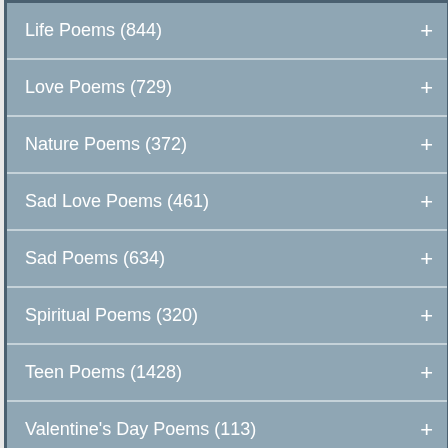Life Poems (844)
Love Poems (729)
Nature Poems (372)
Sad Love Poems (461)
Sad Poems (634)
Spiritual Poems (320)
Teen Poems (1428)
Valentine's Day Poems (113)
Types of Poems (383)
Popular Collections
Featured Published    Children's Poetry On